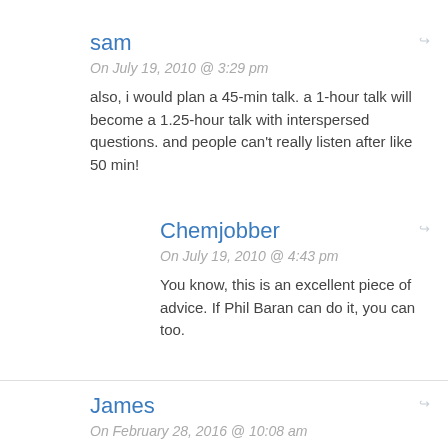sam
On July 19, 2010 @ 3:29 pm
also, i would plan a 45-min talk. a 1-hour talk will become a 1.25-hour talk with interspersed questions. and people can't really listen after like 50 min!
Chemjobber
On July 19, 2010 @ 4:43 pm
You know, this is an excellent piece of advice. If Phil Baran can do it, you can too.
James
On February 28, 2016 @ 10:08 am
“Begin your search one to two years before